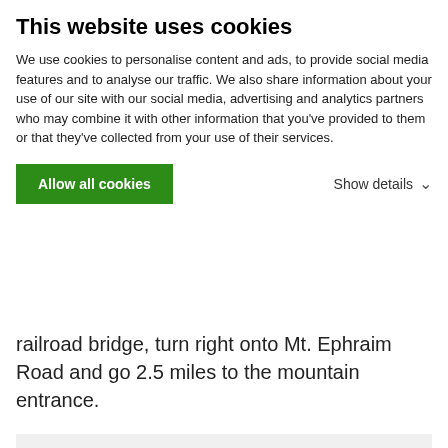This website uses cookies
We use cookies to personalise content and ads, to provide social media features and to analyse our traffic. We also share information about your use of our site with our social media, advertising and analytics partners who may combine it with other information that you’ve provided to them or that they’ve collected from your use of their services.
Allow all cookies
Show details
railroad bridge, turn right onto Mt. Ephraim Road and go 2.5 miles to the mountain entrance.
Map of the Hiking Trails
Map